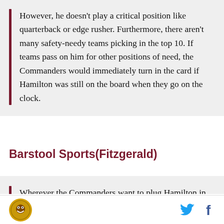However, he doesn't play a critical position like quarterback or edge rusher. Furthermore, there aren't many safety-needy teams picking in the top 10. If teams pass on him for other positions of need, the Commanders would immediately turn in the card if Hamilton was still on the board when they go on the clock.
Barstool Sports(Fitzgerald)
Wherever the Commanders want to plug Hamilton in on their back seven, I can't imagine him not having success. Arguably no organization has had more dysfunction and cultural issues than Washington. Hamilton is precisely the type of high-caliber player